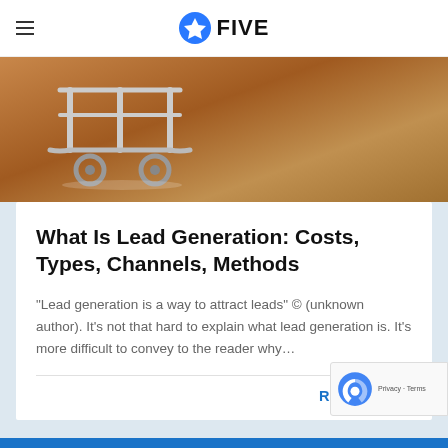FIVE
[Figure (photo): Close-up photo of the bottom of a metal shopping cart on a wooden surface, showing wheels and chrome frame]
What Is Lead Generation: Costs, Types, Channels, Methods
"Lead generation is a way to attract leads" © (unknown author). It's not that hard to explain what lead generation is. It's more difficult to convey to the reader why...
READ MORE